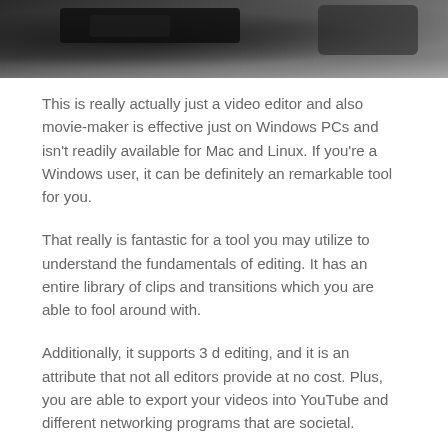[Figure (photo): Partial view of a camera or video equipment against a dark background, top portion of image]
This is really actually just a video editor and also movie-maker is effective just on Windows PCs and isn't readily available for Mac and Linux. If you're a Windows user, it can be definitely an remarkable tool for you.
That really is fantastic for a tool you may utilize to understand the fundamentals of editing. It has an entire library of clips and transitions which you are able to fool around with.
Additionally, it supports 3 d editing, and it is an attribute that not all editors provide at no cost. Plus, you are able to export your videos into YouTube and different networking programs that are societal.
Pros